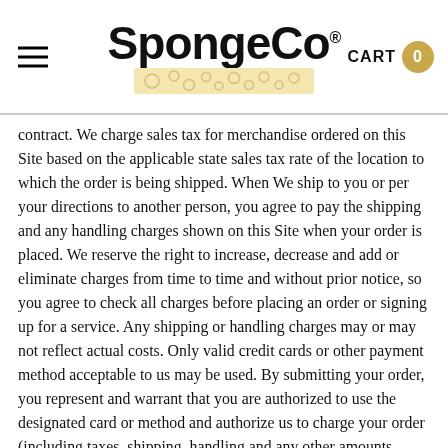[Figure (logo): SpongeCo logo with hamburger menu on the left and CART 0 badge on the right]
contract. We charge sales tax for merchandise ordered on this Site based on the applicable state sales tax rate of the location to which the order is being shipped. When We ship to you or per your directions to another person, you agree to pay the shipping and any handling charges shown on this Site when your order is placed. We reserve the right to increase, decrease and add or eliminate charges from time to time and without prior notice, so you agree to check all charges before placing an order or signing up for a service. Any shipping or handling charges may or may not reflect actual costs. Only valid credit cards or other payment method acceptable to us may be used. By submitting your order, you represent and warrant that you are authorized to use the designated card or method and authorize us to charge your order (including taxes, shipping, handling and any other amounts described on the Sites) to that card or other method. If the card (or